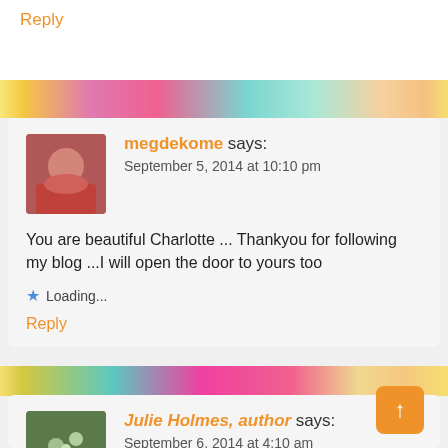Reply
megdekome says:
September 5, 2014 at 10:10 pm
You are beautiful Charlotte ... Thankyou for following my blog ...I will open the door to yours too
Loading...
Reply
Julie Holmes, author says:
September 6, 2014 at 4:10 am
Thank you for sharing your amazing day and for